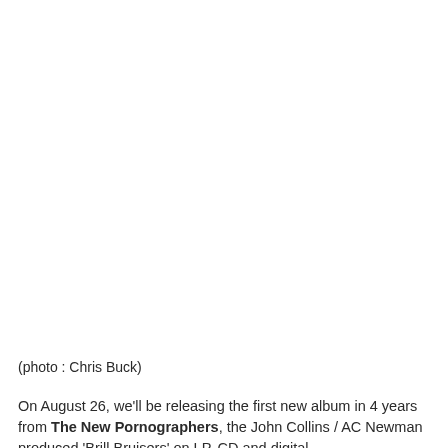[Figure (photo): Large photograph taking up the top portion of the page (image content not visible in this crop)]
(photo : Chris Buck)
On August 26, we'll be releasing the first new album in 4 years from The New Pornographers, the John Collins / AC Newman produced 'Brill Bruisers' on LP, CD and digital